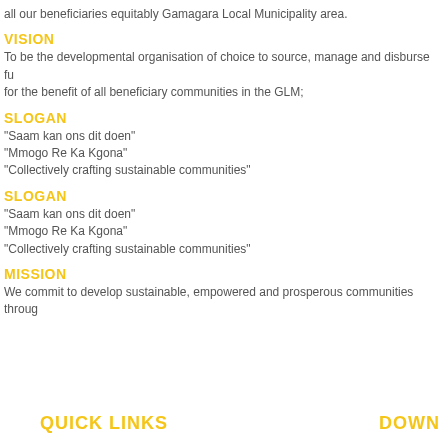all our beneficiaries equitably Gamagara Local Municipality area.
VISION
To be the developmental organisation of choice to source, manage and disburse fu for the benefit of all beneficiary communities in the GLM;
SLOGAN
"Saam kan ons dit doen"
"Mmogo Re Ka Kgona"
"Collectively crafting sustainable communities"
SLOGAN
"Saam kan ons dit doen"
"Mmogo Re Ka Kgona"
"Collectively crafting sustainable communities"
MISSION
We commit to develop sustainable, empowered and prosperous communities throug
QUICK LINKS    DOWN